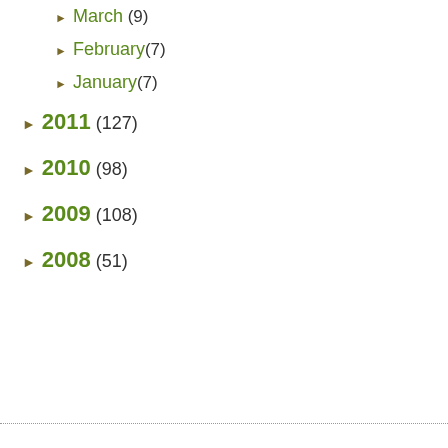► March (9)
► February (7)
► January (7)
► 2011 (127)
► 2010 (98)
► 2009 (108)
► 2008 (51)
Getting Organized
#blamePete A1C Advocacy and Outreach Almost Wordless